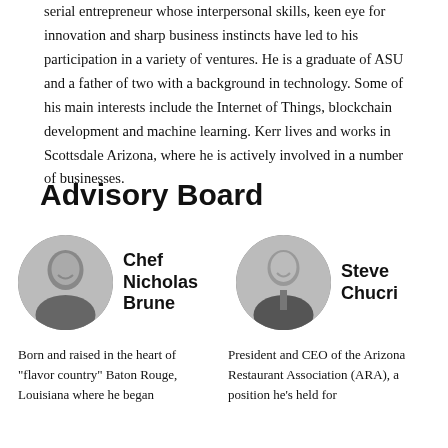serial entrepreneur whose interpersonal skills, keen eye for innovation and sharp business instincts have led to his participation in a variety of ventures. He is a graduate of ASU and a father of two with a background in technology. Some of his main interests include the Internet of Things, blockchain development and machine learning. Kerr lives and works in Scottsdale Arizona, where he is actively involved in a number of businesses.
Advisory Board
[Figure (photo): Black and white circular headshot photo of Chef Nicholas Brune, a man smiling.]
Chef Nicholas Brune
[Figure (photo): Black and white circular headshot photo of Steve Chucri, a man in a suit smiling.]
Steve Chucri
Born and raised in the heart of "flavor country" Baton Rouge, Louisiana where he began
President and CEO of the Arizona Restaurant Association (ARA), a position he's held for